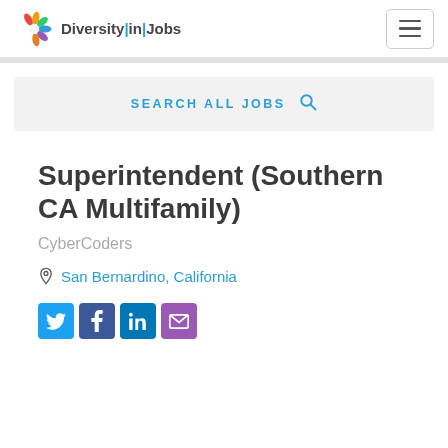Diversity|in|Jobs
SEARCH ALL JOBS
Superintendent (Southern CA Multifamily)
CyberCoders
San Bernardino, California